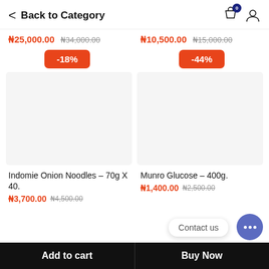Back to Category
₦25,000.00  ₦34,000.00
₦10,500.00  ₦15,000.00
[Figure (infographic): Discount badge showing -18%]
[Figure (infographic): Discount badge showing -44%]
[Figure (photo): Product image placeholder for Indomie Onion Noodles – 70g X 40.]
[Figure (photo): Product image placeholder for Munro Glucose – 400g.]
Indomie Onion Noodles – 70g X 40.
₦3,700.00  ₦4,500.00
Munro Glucose – 400g.
₦1,400.00  ₦2,500.00
Contact us
Add to cart   Buy Now